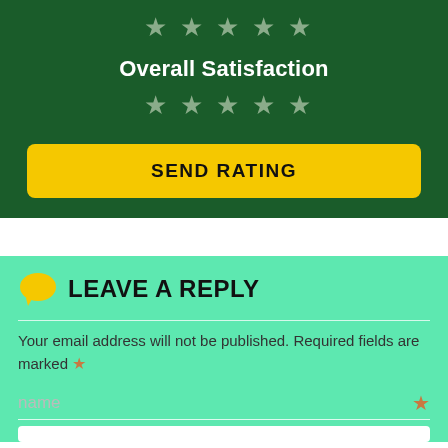[Figure (other): Star rating row at top (5 grey stars)]
Overall Satisfaction
[Figure (other): Star rating row below Overall Satisfaction (5 grey stars)]
[Figure (other): Yellow SEND RATING button]
LEAVE A REPLY
Your email address will not be published. Required fields are marked *
name *